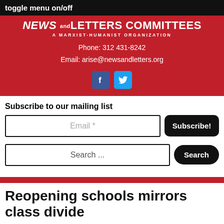toggle menu on/off
[Figure (logo): News and Letters Committees logo with red background, organization name and subtitle, phone number, email, and social media icons for Facebook and Twitter]
Subscribe to our mailing list
Email *
Subscribe!
Search ...
Search
Reopening schools mirrors class divide
March 11, 2021